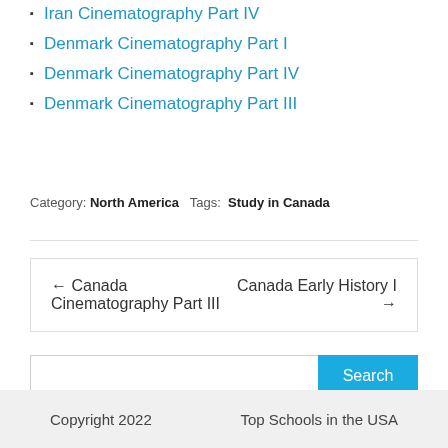Iran Cinematography Part IV
Denmark Cinematography Part I
Denmark Cinematography Part IV
Denmark Cinematography Part III
Category: North America  Tags: Study in Canada
← Canada Cinematography Part III    Canada Early History I →
Search
Copyright 2022    Top Schools in the USA